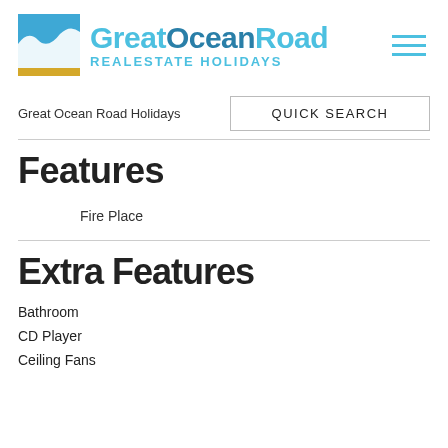[Figure (logo): Great Ocean Road Real Estate Holidays logo with wave icon and cyan text]
Great Ocean Road Holidays
QUICK SEARCH
Features
Fire Place
Extra Features
Bathroom
CD Player
Ceiling Fans